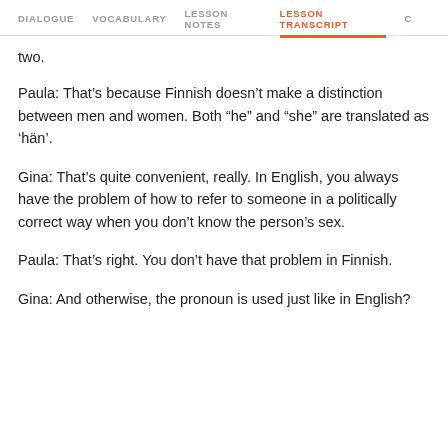DIALOGUE   VOCABULARY   LESSON NOTES   LESSON TRANSCRIPT   C
two.
Paula: That’s because Finnish doesn’t make a distinction between men and women. Both “he” and “she” are translated as ‘hän’.
Gina: That’s quite convenient, really. In English, you always have the problem of how to refer to someone in a politically correct way when you don’t know the person’s sex.
Paula: That’s right. You don’t have that problem in Finnish.
Gina: And otherwise, the pronoun is used just like in English?